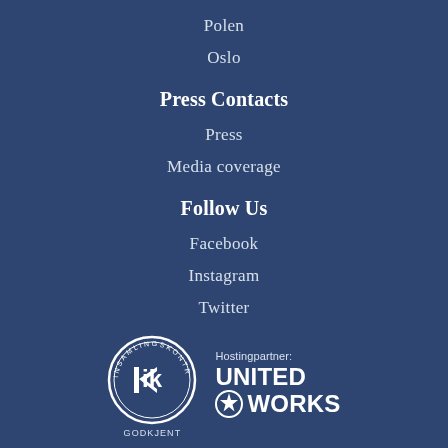Polen
Oslo
Press Contacts
Press
Media coverage
Follow Us
Facebook
Instagram
Twitter
[Figure (logo): Insamlingskontrollen GODKJENT circular seal logo in white on dark blue background]
Hostingpartner: UNITED WORKS